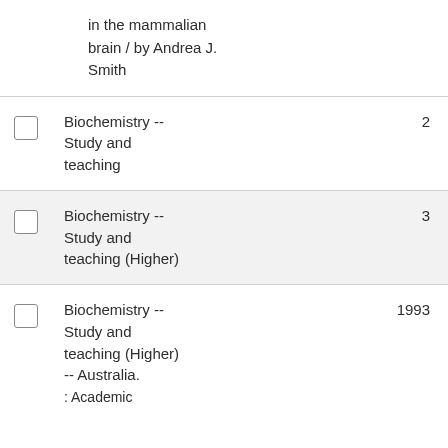in the mammalian brain / by Andrea J. Smith
Biochemistry -- Study and teaching
Biochemistry -- Study and teaching (Higher)
Biochemistry -- Study and teaching (Higher) -- Australia.